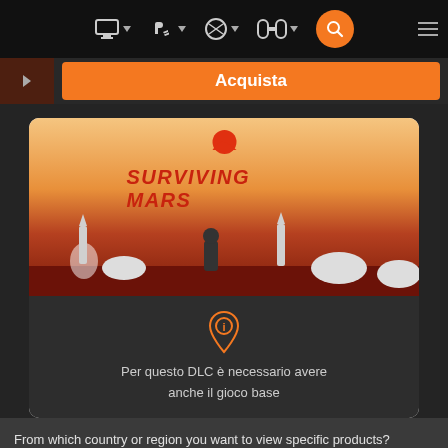Navigation bar with PC, PlayStation, Xbox, Nintendo Switch icons and search button
Acquista
[Figure (screenshot): Surviving Mars game cover art showing a Mars landscape with domes, rockets, and a silhouetted astronaut figure, with the Surviving Mars logo in orange/red text]
Per questo DLC è necessario avere anche il gioco base
From which country or region you want to view specific products?
United States
Submit